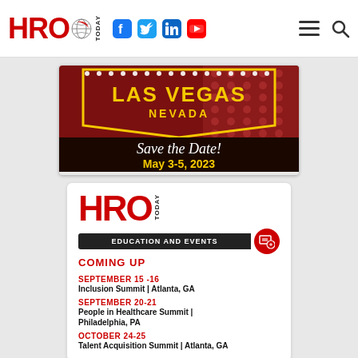HRO TODAY - Navigation bar with social icons
[Figure (illustration): Las Vegas Nevada Save the Date! May 3-5, 2023 banner with dark red Las Vegas sign background]
[Figure (infographic): HRO Today Education and Events Coming Up card with event listings]
SEPTEMBER 15-16 | Inclusion Summit | Atlanta, GA
SEPTEMBER 20-21 | People in Healthcare Summit | Philadelphia, PA
OCTOBER 24-25 | Talent Acquisition Summit | Atlanta, GA